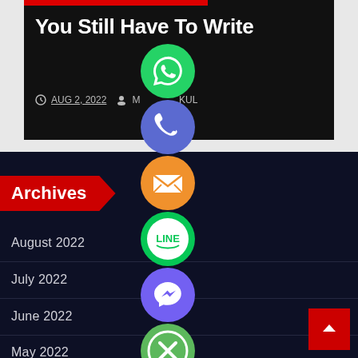You Still Have To Write
AUG 2, 2022   M...KUL
Archives
August 2022
July 2022
June 2022
May 2022
[Figure (illustration): Social media sharing icons column: WhatsApp (green), Phone/Viber call (blue/purple), Email (orange), LINE (green), Viber (purple), Close/X (green)]